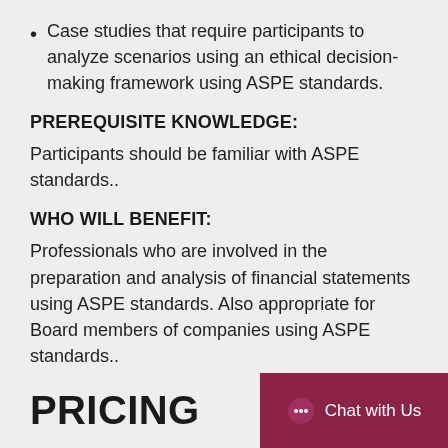Case studies that require participants to analyze scenarios using an ethical decision-making framework using ASPE standards.
PREREQUISITE KNOWLEDGE:
Participants should be familiar with ASPE standards..
WHO WILL BENEFIT:
Professionals who are involved in the preparation and analysis of financial statements using ASPE standards. Also appropriate for Board members of companies using ASPE standards..
PRICING